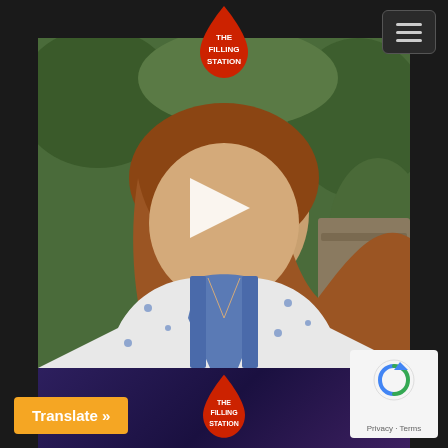[Figure (logo): The Filling Station logo — red droplet shape with white text 'THE FILLING STATION' inside, positioned top center]
[Figure (other): Hamburger/menu button icon — three horizontal lines in a rounded square, top right corner]
[Figure (photo): Video thumbnail showing a woman with curly auburn hair wearing a blue and white floral top, seated outdoors with green foliage in background. A white play button triangle is overlaid in the center.]
[Figure (logo): The Filling Station logo — red droplet shape with white text 'THE FILLING STATION' inside, positioned in bottom purple section]
Translate »
[Figure (other): Google reCAPTCHA widget — blue/grey circular logo with Privacy and Terms text below]